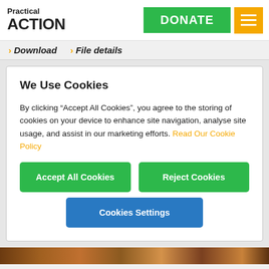Practical ACTION — DONATE — menu
> Download  > File details
We Use Cookies
By clicking “Accept All Cookies”, you agree to the storing of cookies on your device to enhance site navigation, analyse site usage, and assist in our marketing efforts. Read Our Cookie Policy
Accept All Cookies
Reject Cookies
Cookies Settings
[Figure (photo): Bottom strip showing colorful textile or coral reef image]